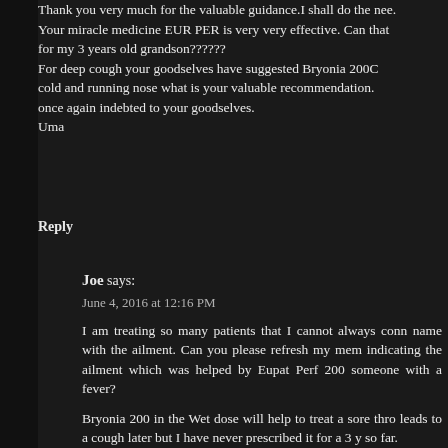Thank you very much for the valuable guidance.I shall do the nee. Your miracle medicine EUR PER is very very effective. Can that for my 3 years old grandson?????? For deep cough your goodselves have suggested Bryonia 200C cold and running nose what is your valuable recommendation. once again indebted to your goodselves. Uma
Reply
Joe says:
June 4, 2016 at 12:16 PM
I am treating so many patients that I cannot always conn name with the ailment. Can you please refresh my mem indicating the ailment which was helped by Eupat Perf 200 someone with a fever?
Bryonia 200 in the Wet dose will help to treat a sore thro leads to a cough later but I have never prescribed it for a 3 y so far.
You may however let him sip about a teaspoonful of Bry 20 Wd by giving him this remedy in drops which should not ex teaspoonful and you will report his response in 24 hours.
You can administer the drops from a syringe which you can g a pharmacy and you will NOT use the needle. The drops given over a period of about 5 minutes to enable the me slowly trickle down his throat and hopefully cure both his co